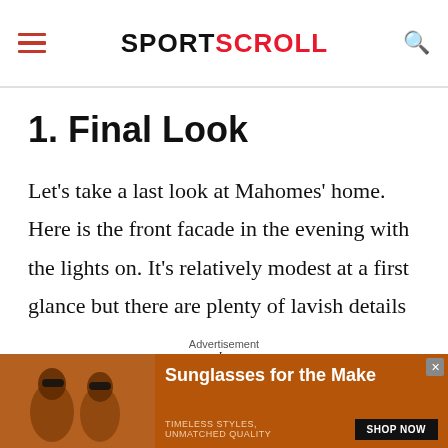SPORTSCROLL
1. Final Look
Let's take a last look at Mahomes' home. Here is the front facade in the evening with the lights on. It's relatively modest at a first glance but there are plenty of lavish details on the inside. Overall, Mahomes
[Figure (photo): Advertisement banner showing two women wearing sunglasses with text 'Sunglasses for the Make', 'TIMELESS STYLES, UNMATCHED QUALITY', and a 'SHOP NOW' button on an orange/brown background.]